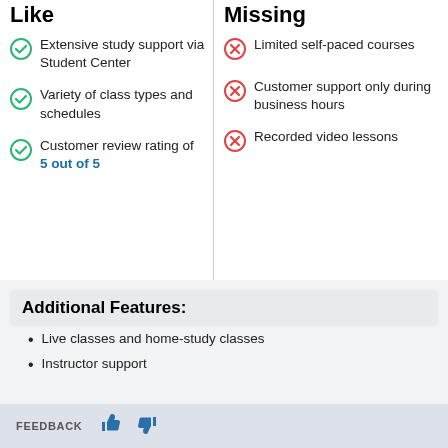Like
Extensive study support via Student Center
Variety of class types and schedules
Customer review rating of 5 out of 5
Missing
Limited self-paced courses
Customer support only during business hours
Recorded video lessons
Additional Features:
Live classes and home-study classes
Instructor support
FEEDBACK